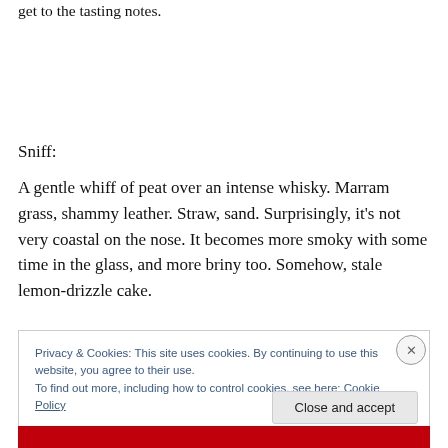get to the tasting notes.
Sniff:
A gentle whiff of peat over an intense whisky. Marram grass, shammy leather. Straw, sand. Surprisingly, it's not very coastal on the nose. It becomes more smoky with some time in the glass, and more briny too. Somehow, stale lemon-drizzle cake.
Privacy & Cookies: This site uses cookies. By continuing to use this website, you agree to their use.
To find out more, including how to control cookies, see here: Cookie Policy
Close and accept